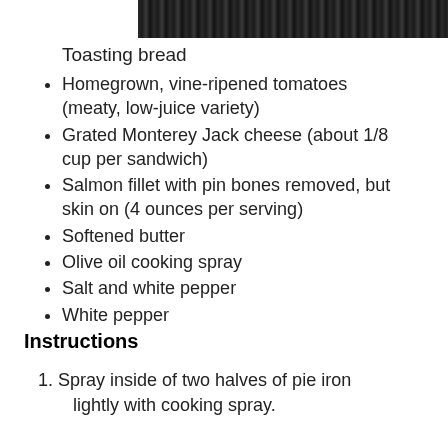[Figure (photo): Dark photo/image at top of page showing a toasted bread or cooking surface]
Toasting bread
Homegrown, vine-ripened tomatoes (meaty, low-juice variety)
Grated Monterey Jack cheese (about 1/8 cup per sandwich)
Salmon fillet with pin bones removed, but skin on (4 ounces per serving)
Softened butter
Olive oil cooking spray
Salt and white pepper
White pepper
Instructions
Spray inside of two halves of pie iron lightly with cooking spray.